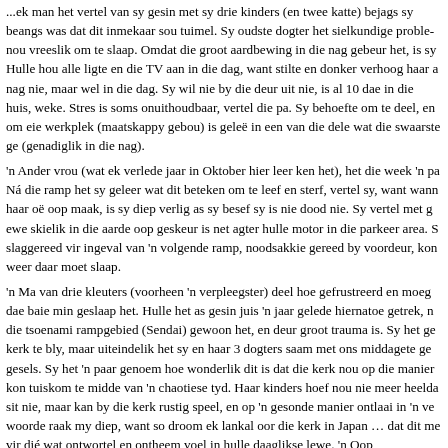...ek man het vertel van sy gesin met sy drie kinders (en twee katte) bejags sy beangs was dat dit inmekaar sou tuimel. Sy oudste dogter het sielkundige probleme, nou vreeslik om te slaap. Omdat die groot aardbewing in die nag gebeur het, is sy... Hulle hou alle ligte en die TV aan in die dag, want stilte en donker verhoog haar angs nag nie, maar wel in die dag. Sy wil nie by die deur uit nie, is al 10 dae in die huis, weke. Stres is soms onuithoudbaar, vertel die pa. Sy behoefte om te deel, en om... eie werkplek (maatskappy gebou) is geleë in een van die dele wat die swaarste ge... (genadiglik in die nag).
'n Ander vrou (wat ek verlede jaar in Oktober hier leer ken het), het die week 'n pa... Ná die ramp het sy geleer wat dit beteken om te leef en sterf, vertel sy, want wann... haar oë oop maak, is sy diep verlig as sy besef sy is nie dood nie. Sy vertel met g... ewe skielik in die aarde oop geskeur is net agter hulle motor in die parkeer area. S... slaggereed vir ingeval van 'n volgende ramp, noodsakkie gereed by voordeur, kon... weer daar moet slaap.
'n Ma van drie kleuters (voorheen 'n verpleegster) deel hoe gefrustreerd en moeg... dae baie min geslaap het. Hulle het as gesin juis 'n jaar gelede hiernatoe getrek, n... die tsoenami rampgebied (Sendai) gewoon het, en deur groot trauma is. Sy het ge... kerk te bly, maar uiteindelik het sy en haar 3 dogters saam met ons middagete ge... gesels. Sy het 'n paar genoem hoe wonderlik dit is dat die kerk nou op die manier... kon tuiskom te midde van 'n chaotiese tyd. Haar kinders hoef nou nie meer heelda... sit nie, maar kan by die kerk rustig speel, en op 'n gesonde manier ontlaai in 'n ve... woorde raak my diep, want so droom ek lankal oor die kerk in Japan … dat dit me... vir dié wat ontwortel en ontheem voel in hulle daaglikse lewe. 'n Oop, verwelkome... vrede en vreugde. Sy het my ook vrymoediglik uitgevra oor kerk en geloof, en oor... 'n Ander groep vroue gesels oor onderwysers wat self ook slagoffers is, en baie ha... tydelike skuilings vir duisende mense moes word. 'n Skoolhoof het emosioneel f...